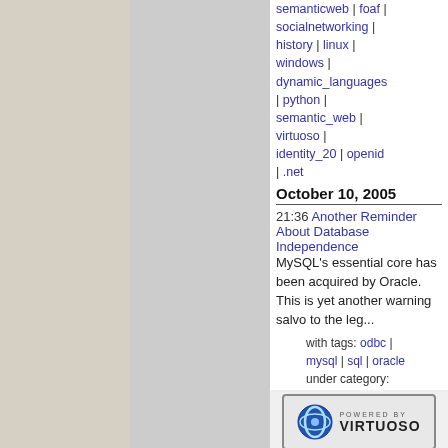semanticweb | foaf | socialnetworking | history | linux | windows | dynamic_languages | python | semantic_web | virtuoso | identity_20 | openid | .net
October 10, 2005
21:36 Another Reminder About Database Independence
MySQL's essential core has been acquired by Oracle. This is yet another warning salvo to the leg...
with tags: odbc | mysql | sql | oracle
under category: Data Access | SQL | Content Syndication
On del.icio.us: odbc | mysql | sql | oracle
On technorati: odbc | mysql | sql | oracle
<< | 1 | 2 | >>
[Figure (logo): Powered by Virtuoso badge/logo with circular icon]
Running on Linux platform